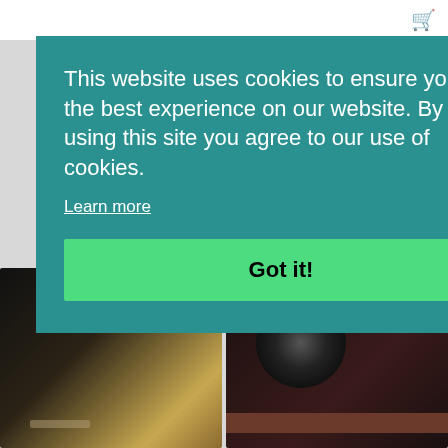[Figure (screenshot): Website screenshot showing a cookie consent overlay on a product page for turntables/audio equipment. The overlay is teal/green background with white text. Below and behind it are product images of turntables.]
This website uses cookies to ensure you get the best experience on our website. By using this site you agree to our use of cookies.
Learn more
Got it!
All Motor
Improved Design!